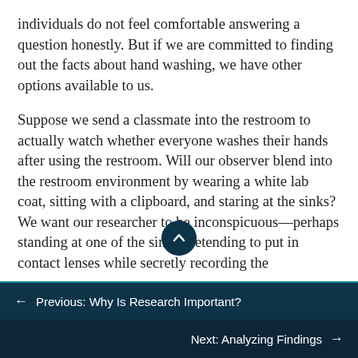individuals do not feel comfortable answering a question honestly. But if we are committed to finding out the facts about hand washing, we have other options available to us.
Suppose we send a classmate into the restroom to actually watch whether everyone washes their hands after using the restroom. Will our observer blend into the restroom environment by wearing a white lab coat, sitting with a clipboard, and staring at the sinks? We want our researcher to be inconspicuous—perhaps standing at one of the sinks pretending to put in contact lenses while secretly recording the
← Previous: Why Is Research Important?
Next: Analyzing Findings →